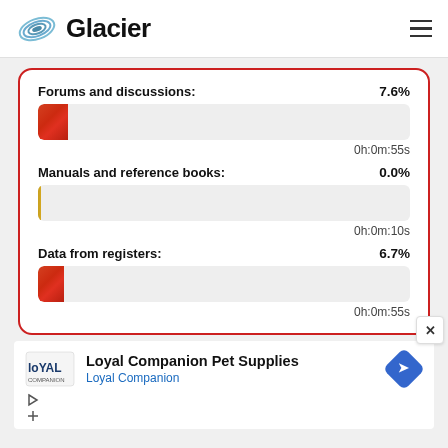[Figure (logo): Glacier logo with swirl icon and bold text]
[Figure (infographic): Card with three progress bar metrics: Forums and discussions 7.6% (0h:0m:55s), Manuals and reference books 0.0% (0h:0m:10s), Data from registers 6.7% (0h:0m:55s)]
[Figure (infographic): Advertisement for Loyal Companion Pet Supplies with logo and navigation icon]